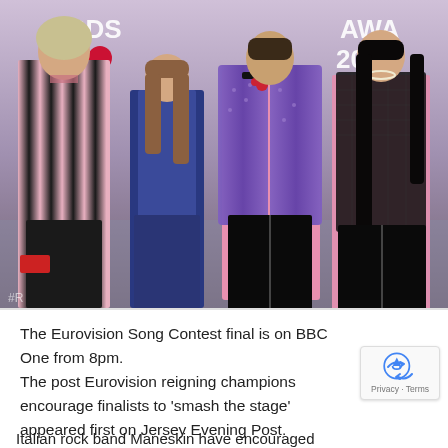[Figure (photo): Four people standing in a row at the BRIT Awards 2022 red carpet. From left to right: person in pink and black striped jacket; woman in blue corset jumpsuit; person in purple fuzzy jacket over pink shirt with black leather pants; person in black vest with black leather pants and long dark hair.]
The Eurovision Song Contest final is on BBC One from 8pm.
The post Eurovision reigning champions encourage finalists to 'smash the stage' appeared first on Jersey Evening Post.
Italian rock band Maneskin have encouraged...